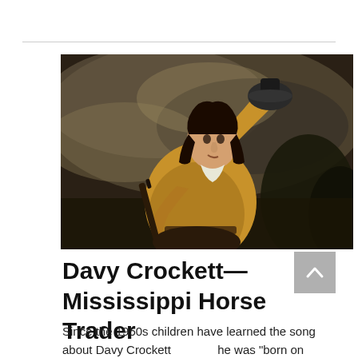[Figure (illustration): Historical oil painting portrait of Davy Crockett, depicted as a frontiersman in buckskin clothing, raising a hat with one hand and holding a rifle with the other, set against a dramatic cloudy sky background.]
Davy Crockett—Mississippi Horse Trader
Since the 1950s children have learned the song about Davy Crockett he was "born on